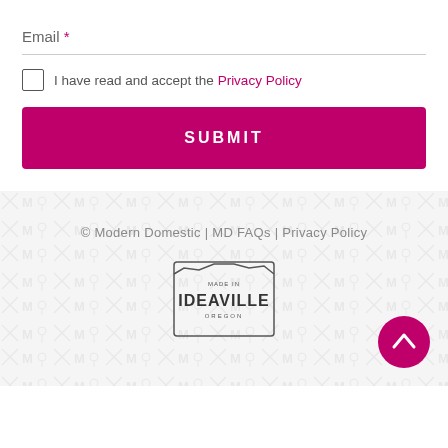Email *
I have read and accept the Privacy Policy
SUBMIT
© Modern Domestic | MD FAQs | Privacy Policy
[Figure (logo): Made in Ideaville Oregon logo with Oregon state outline]
[Figure (other): Scroll to top button with chevron up arrow]